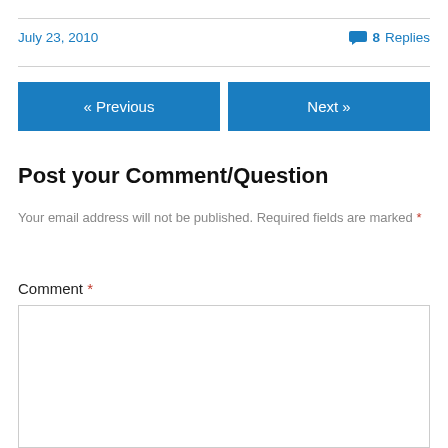July 23, 2010
8 Replies
« Previous
Next »
Post your Comment/Question
Your email address will not be published. Required fields are marked *
Comment *